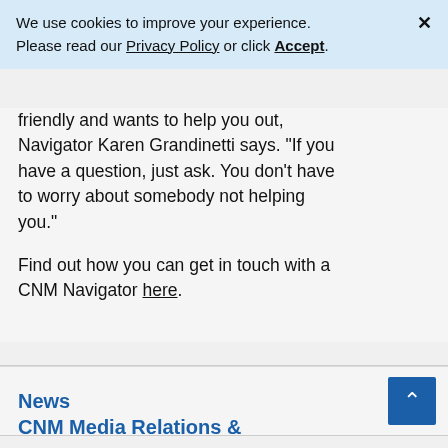We use cookies to improve your experience. Please read our Privacy Policy or click Accept.
friendly and wants to help you out, Navigator Karen Grandinetti says. “If you have a question, just ask. You don’t have to worry about somebody not helping you.”
Find out how you can get in touch with a CNM Navigator here.
News
CNM Media Relations &